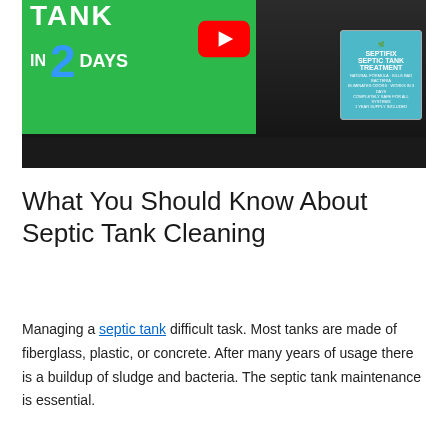[Figure (screenshot): YouTube video thumbnail showing a woman with a septic tank treatment product, text reading 'TANK IN 2 DAYS' on a green background, with a YouTube play button overlay]
What You Should Know About Septic Tank Cleaning
Managing a septic tank difficult task. Most tanks are made of fiberglass, plastic, or concrete. After many years of usage there is a buildup of sludge and bacteria. The septic tank maintenance is essential.